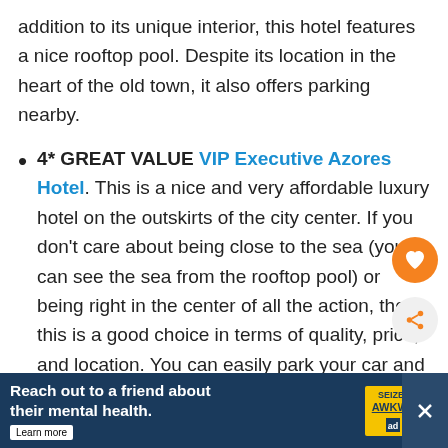addition to its unique interior, this hotel features a nice rooftop pool. Despite its location in the heart of the old town, it also offers parking nearby.
4* GREAT VALUE VIP Executive Azores Hotel. This is a nice and very affordable luxury hotel on the outskirts of the city center. If you don’t care about being close to the sea (you can see the sea from the rooftop pool) or being right in the center of all the action, then this is a good choice in terms of quality, price, and location. You can easily park your car and you can also walk to the city center in about 20 minutes. It’s also much cheaper than comparable hotels at the waterfr
[Figure (infographic): Advertisement banner: 'Reach out to a friend about their mental health. Learn more' with SEIZE THE AWKWARD badge and close button]